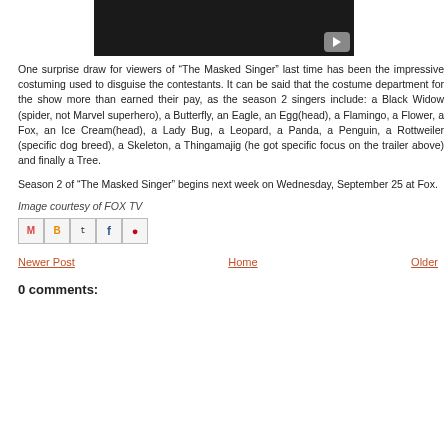[Figure (screenshot): Black video thumbnail with a gray play button in the bottom right corner]
One surprise draw for viewers of “The Masked Singer” last time has been the impressive costuming used to disguise the contestants. It can be said that the costume department for the show more than earned their pay, as the season 2 singers include: a Black Widow (spider, not Marvel superhero), a Butterfly, an Eagle, an Egg(head), a Flamingo, a Flower, a Fox, an Ice Cream(head), a Lady Bug, a Leopard, a Panda, a Penguin, a Rottweiler (specific dog breed), a Skeleton, a Thingamajig (he got specific focus on the trailer above) and finally a Tree.
Season 2 of “The Masked Singer” begins next week on Wednesday, September 25 at Fox.
Image courtesy of FOX TV
[Figure (other): Social sharing icons: Email (M), Blogger (B), Twitter (t), Facebook (f), Pinterest (p)]
Newer Post   Home   Older Post
0 comments: